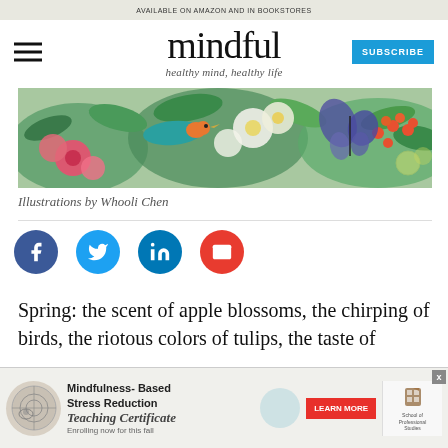AVAILABLE ON AMAZON AND IN BOOKSTORES
mindful
healthy mind, healthy life
[Figure (illustration): Colorful botanical illustration by Whooli Chen showing flowers, birds, berries, and a butterfly]
Illustrations by Whooli Chen
[Figure (infographic): Social sharing icons: Facebook, Twitter, LinkedIn, Email]
Spring: the scent of apple blossoms, the chirping of birds, the riotous colors of tulips, the taste of
[Figure (infographic): Mindfulness-Based Stress Reduction Teaching Certificate — Enrolling now for this fall. Learn More button. School of Professional Studies logo.]